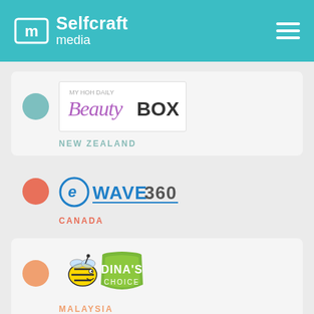Selfcraft media
[Figure (logo): BeautyBOX logo with text NEW ZEALAND]
[Figure (logo): eWave360 logo with text CANADA]
[Figure (logo): Dina's Choice logo with text MALAYSIA]